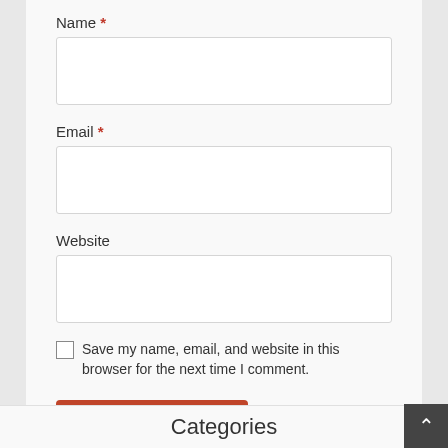Name *
Email *
Website
Save my name, email, and website in this browser for the next time I comment.
Post Comment
Categories